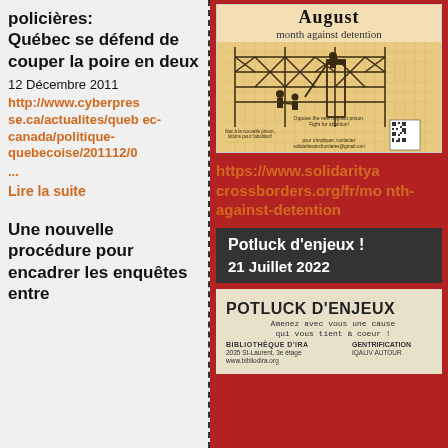policières: Québec se défend de couper la poire en deux
12 Décembre 2011
http://www.cyberpresse.ca/actualites/quebec-canada/politique-quebecoise/201112/0 ...
Lire la suite
Une nouvelle procédure pour encadrer les enquêtes entre
[Figure (illustration): August month against detention poster with silhouettes of children near a fence, QR code, and contact info for solidaritesansfrontieres@gmail.com]
https://www.solidaritya crossborders.org/fr/month-against-detention
Potluck d'enjeux !
21 Juillet 2022
[Figure (illustration): Potluck d'enjeux poster with text: Amenez avec vous une cause qui vous tient à coeur! Bibliothèque d'IRA, 2035 St-Laurent, 3e étage, www.bibliodira.org, Gentrification, IQALIV AUTOUR]